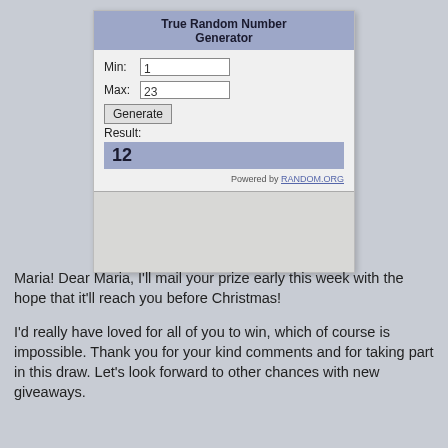[Figure (screenshot): Screenshot of a True Random Number Generator widget showing Min: 1, Max: 23, Generate button, Result: 12, powered by RANDOM.ORG]
Maria!  Dear Maria, I'll mail your prize early this week with the hope that it'll reach you before Christmas!
I'd really have loved for all of you to win, which of course is impossible. Thank you for your kind comments and for taking part in this draw. Let's look forward to other chances with new giveaways.